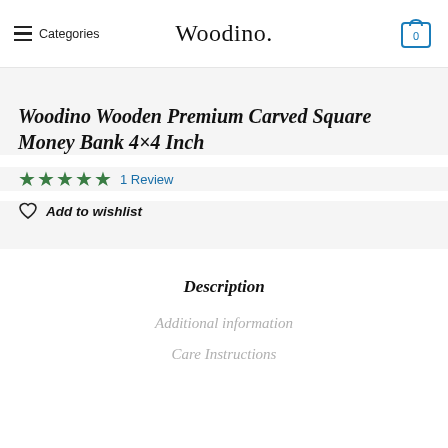Categories  Woodino.  0
Woodino Wooden Premium Carved Square Money Bank 4×4 Inch
★★★★★ 1 Review
♡ Add to wishlist
Description
Additional information
Care Instructions